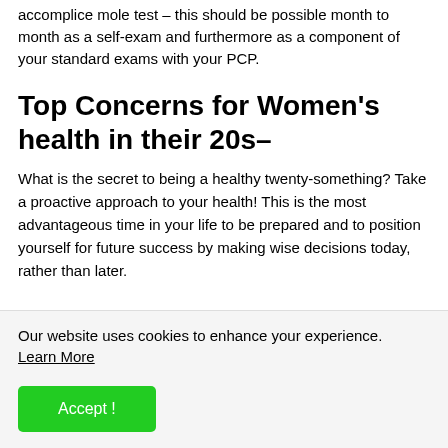accomplice mole test – this should be possible month to month as a self-exam and furthermore as a component of your standard exams with your PCP.
Top Concerns for Women's health in their 20s–
What is the secret to being a healthy twenty-something? Take a proactive approach to your health! This is the most advantageous time in your life to be prepared and to position yourself for future success by making wise decisions today, rather than later.
Our website uses cookies to enhance your experience. Learn More
Accept !